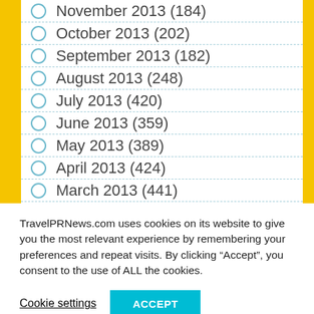November 2013 (184)
October 2013 (202)
September 2013 (182)
August 2013 (248)
July 2013 (420)
June 2013 (359)
May 2013 (389)
April 2013 (424)
March 2013 (441)
TravelPRNews.com uses cookies on its website to give you the most relevant experience by remembering your preferences and repeat visits. By clicking “Accept”, you consent to the use of ALL the cookies.
Cookie settings | ACCEPT